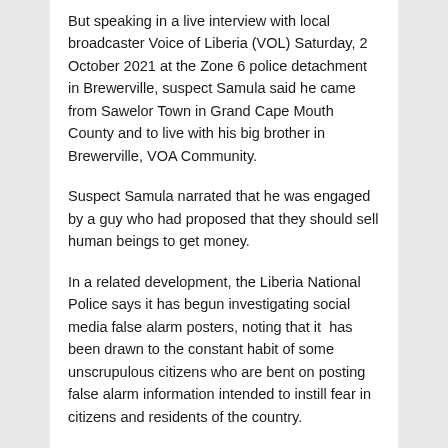But speaking in a live interview with local broadcaster Voice of Liberia (VOL) Saturday, 2 October 2021 at the Zone 6 police detachment in Brewerville, suspect Samula said he came from Sawelor Town in Grand Cape Mouth County and to live with his big brother in Brewerville, VOA Community.
Suspect Samula narrated that he was engaged by a guy who had proposed that they should sell human beings to get money.
In a related development, the Liberia National Police says it has begun investigating social media false alarm posters, noting that it has been drawn to the constant habit of some unscrupulous citizens who are bent on posting false alarm information intended to instill fear in citizens and residents of the country.
These false alarm posters are posting horrible photos and videos of fake incidents which are solely intended to portray the country as unsafe and instill fear in the